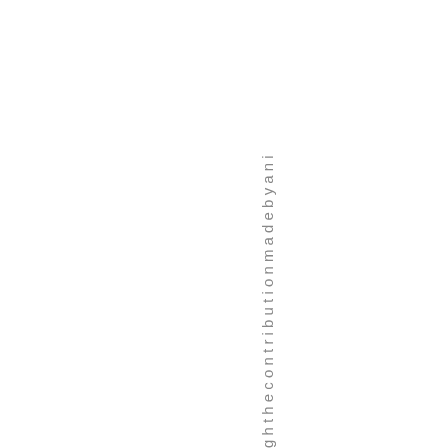g h t h e c o n t r i b u t i o n m a d e b y a n i